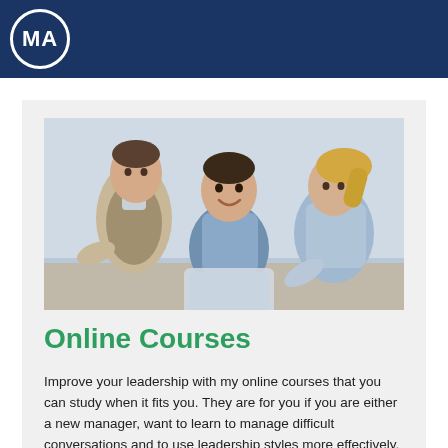MA
[Figure (photo): Three business professionals (two men and a woman) looking at a tablet or laptop together, smiling and collaborating in an office setting.]
Online Courses
Improve your leadership with my online courses that you can study when it fits you. They are for you if you are either a new manager, want to learn to manage difficult conversations and to use leadership styles more effectively.